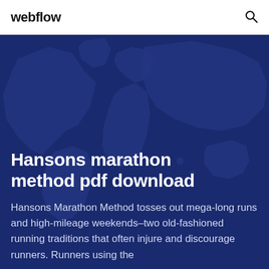webflow
Hansons marathon method pdf download
Hansons Marathon Method tosses out mega-long runs and high-mileage weekends–two old-fashioned running traditions that often injure and discourage runners. Runners using the